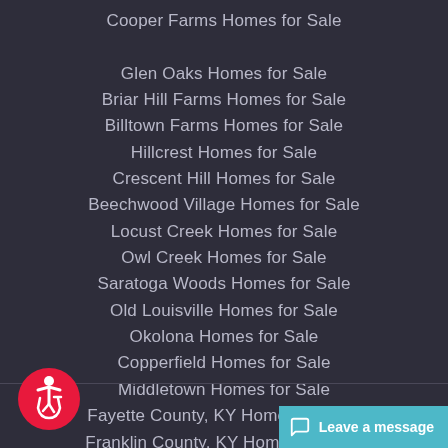Cooper Farms Homes for Sale
Glen Oaks Homes for Sale
Briar Hill Farms Homes for Sale
Billtown Farms Homes for Sale
Hillcrest Homes for Sale
Crescent Hill Homes for Sale
Beechwood Village Homes for Sale
Locust Creek Homes for Sale
Owl Creek Homes for Sale
Saratoga Woods Homes for Sale
Old Louisville Homes for Sale
Okolona Homes for Sale
Copperfield Homes for Sale
Middletown Homes for Sale
Fayette County, KY Homes for Sale
Franklin County, KY Homes for Sale
Forest Springs Homes for Sale
Floyd County, IN Homes